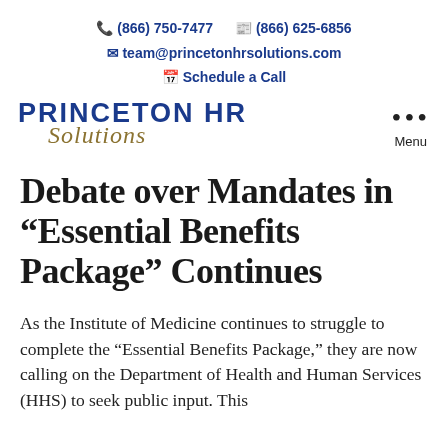(866) 750-7477  (866) 625-6856  team@princetonhrsolutions.com  Schedule a Call
[Figure (logo): Princeton HR Solutions logo with bold blue uppercase text 'PRINCETON HR' and italic gold script 'Solutions']
Debate over Mandates in “Essential Benefits Package” Continues
As the Institute of Medicine continues to struggle to complete the “Essential Benefits Package,” they are now calling on the Department of Health and Human Services (HHS) to seek public input. This